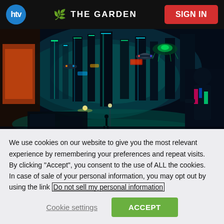htv | THE GARDEN | SIGN IN
[Figure (illustration): Cyberpunk futuristic city scene illustration: neon-lit cityscape viewed from interior with a silhouetted figure on the right side, glowing teal and green lights, flying vehicles, tall buildings covered in signs, rain atmosphere]
We use cookies on our website to give you the most relevant experience by remembering your preferences and repeat visits. By clicking “Accept”, you consent to the use of ALL the cookies. In case of sale of your personal information, you may opt out by using the link Do not sell my personal information
Cookie settings
ACCEPT